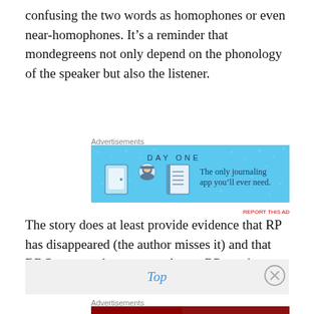confusing the two words as homophones or even near-homophones. It's a reminder that mondegreens not only depend on the phonology of the speaker but also the listener.
Advertisements
[Figure (illustration): Day One journaling app advertisement - blue background with app icons and text 'The only journaling app you'll ever need.']
REPORT THIS AD
The story does at least provide evidence that RP has disappeared (the author misses it) and that BBC newsreaders are not always RP speakers.
Top
Advertisements
[Figure (illustration): Macy's advertisement - dark red background with text 'KISS BORING LIPS GOODBYE' and 'SHOP NOW' button with Macy's star logo]